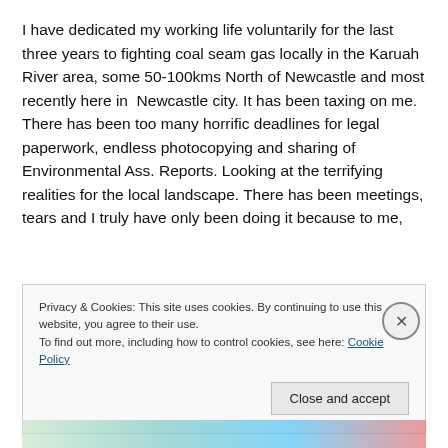I have dedicated my working life voluntarily for the last three years to fighting coal seam gas locally in the Karuah River area, some 50-100kms North of Newcastle and most recently here in  Newcastle city. It has been taxing on me. There has been too many horrific deadlines for legal paperwork, endless photocopying and sharing of Environmental Ass. Reports. Looking at the terrifying realities for the local landscape. There has been meetings, tears and I truly have only been doing it because to me,
Privacy & Cookies: This site uses cookies. By continuing to use this website, you agree to their use.
To find out more, including how to control cookies, see here: Cookie Policy
Close and accept